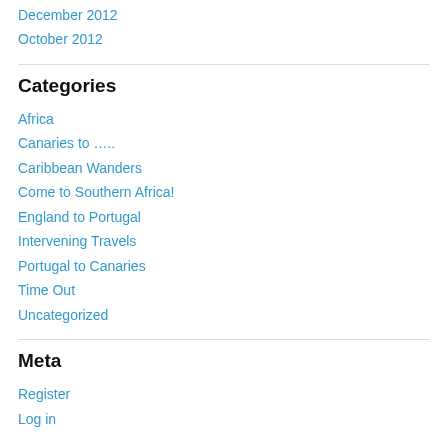December 2012
October 2012
Categories
Africa
Canaries to …..
Caribbean Wanders
Come to Southern Africa!
England to Portugal
Intervening Travels
Portugal to Canaries
Time Out
Uncategorized
Meta
Register
Log in